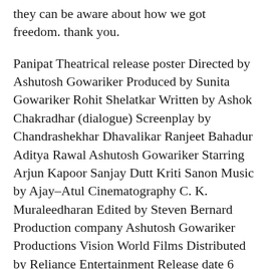they can be aware about how we got freedom. thank you.
Panipat Theatrical release poster Directed by Ashutosh Gowariker Produced by Sunita Gowariker Rohit Shelatkar Written by Ashok Chakradhar (dialogue) Screenplay by Chandrashekhar Dhavalikar Ranjeet Bahadur Aditya Rawal Ashutosh Gowariker Starring Arjun Kapoor Sanjay Dutt Kriti Sanon Music by Ajay–Atul Cinematography C. K. Muraleedharan Edited by Steven Bernard Production company Ashutosh Gowariker Productions Vision World Films Distributed by Reliance Entertainment Release date 6 December 2019 Running time 162 minutes [1] Country India Language Hindi Budget ₹100 crore